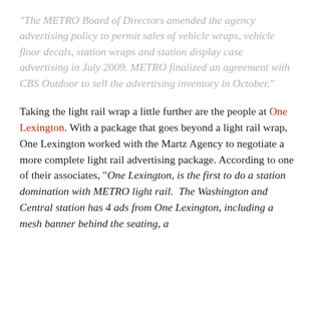"The METRO Board of Directors amended the agency advertising policy to permit sales of vehicle wraps, vehicle floor decals, station wraps and station display case advertising in July 2009. METRO finalized an agreement with CBS Outdoor to sell the advertising inventory in October."
Taking the light rail wrap a little further are the people at One Lexington. With a package that goes beyond a light rail wrap, One Lexington worked with the Martz Agency to negotiate a more complete light rail advertising package. According to one of their associates, "One Lexington, is the first to do a station domination with METRO light rail.  The Washington and Central station has 4 ads from One Lexington, including a mesh banner behind the seating, a...